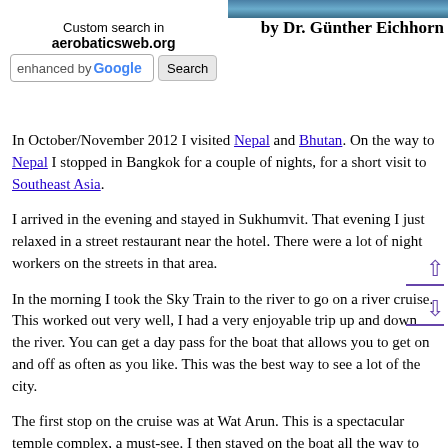[Figure (photo): Partial aerial/map image in the top right corner]
by Dr. Günther Eichhorn
Custom search in aerobaticsweb.org
[Figure (screenshot): Google custom search box with Search button]
In October/November 2012 I visited Nepal and Bhutan. On the way to Nepal I stopped in Bangkok for a couple of nights, for a short visit to Southeast Asia.
I arrived in the evening and stayed in Sukhumvit. That evening I just relaxed in a street restaurant near the hotel. There were a lot of night workers on the streets in that area.
In the morning I took the Sky Train to the river to go on a river cruise. This worked out very well, I had a very enjoyable trip up and down the river. You can get a day pass for the boat that allows you to get on and off as often as you like. This was the best way to see a lot of the city.
The first stop on the cruise was at Wat Arun. This is a spectacular temple complex, a must-see. I then stayed on the boat all the way to Nonthaburi. I walked around Nonthaburi for a while, looking at the local market.